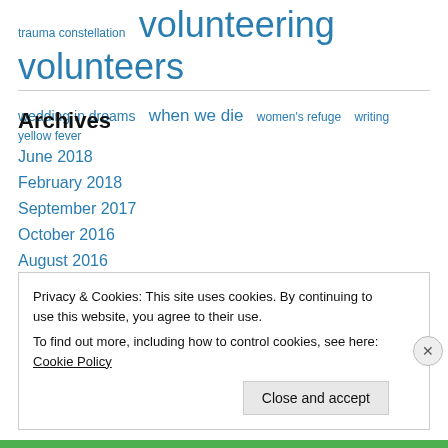trauma constellation   volunteering volunteers
wedding in dreams   when we die   women's refuge   writing   yellow fever
Archives
June 2018
February 2018
September 2017
October 2016
August 2016
April 2016
March 2016
Privacy & Cookies: This site uses cookies. By continuing to use this website, you agree to their use. To find out more, including how to control cookies, see here: Cookie Policy